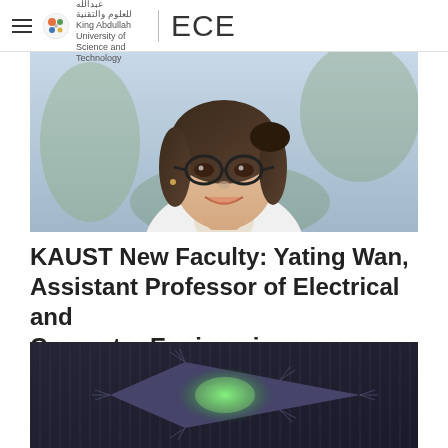ECE — KAUST Electrical and Computer Engineering
[Figure (photo): Smiling young woman with glasses wearing a white blouse, portrait photo outdoors with blurred background]
KAUST New Faculty: Yating Wan, Assistant Professor of Electrical and Computer Engineering
2022.07.19   PHOTONICS
[Figure (photo): Close-up microscope or scientific image showing a star-shaped semiconductor or photonic crystal structure with green light emission on a dark textured background]